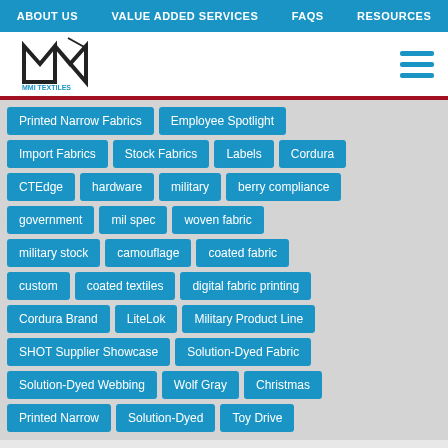ABOUT US  VALUE ADDED SERVICES  FAQS  RESOURCES
[Figure (logo): MMI Textiles logo with stylized M and needle/thread icon]
Printed Narrow Fabrics
Employee Spotlight
Import Fabrics
Stock Fabrics
Labels
Cordura
CTEdge
hardware
military
berry compliance
government
mil spec
woven fabric
military stock
camouflage
coated fabric
custom
coated textiles
digital fabric printing
Cordura Brand
LiteLok
Military Product Line
SHOT Supplier Showcase
Solution-Dyed Fabric
Solution-Dyed Webbing
Wolf Gray
Christmas
Printed Narrow
Solution-Dyed
Toy Drive